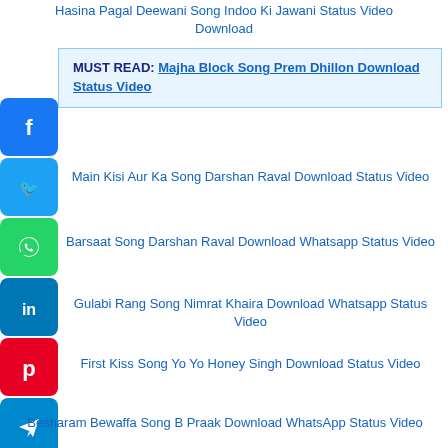Hasina Pagal Deewani Song Indoo Ki Jawani Status Video Download
MUST READ: Majha Block Song Prem Dhillon Download Status Video
Main Kisi Aur Ka Song Darshan Raval Download Status Video
Barsaat Song Darshan Raval Download Whatsapp Status Video
Gulabi Rang Song Nimrat Khaira Download Whatsapp Status Video
First Kiss Song Yo Yo Honey Singh Download Status Video
Besharam Bewaffa Song B Praak Download WhatsApp Status Video